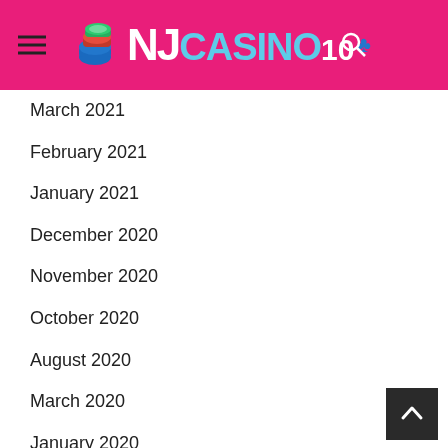NJ CASINO 10
March 2021
February 2021
January 2021
December 2020
November 2020
October 2020
August 2020
March 2020
January 2020
November 2019
October 2019
September 2019
August 2019